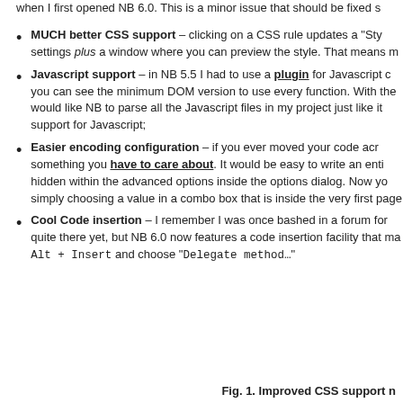when I first opened NB 6.0. This is a minor issue that should be fixed s
MUCH better CSS support – clicking on a CSS rule updates a "Sty settings plus a window where you can preview the style. That means m
Javascript support – in NB 5.5 I had to use a plugin for Javascript c you can see the minimum DOM version to use every function. With the would like NB to parse all the Javascript files in my project just like it support for Javascript;
Easier encoding configuration – if you ever moved your code acr something you have to care about. It would be easy to write an enti hidden within the advanced options inside the options dialog. Now yo simply choosing a value in a combo box that is inside the very first page
Cool Code insertion – I remember I was once bashed in a forum for quite there yet, but NB 6.0 now features a code insertion facility that ma Alt + Insert and choose "Delegate method…"
Fig. 1. Improved CSS support n